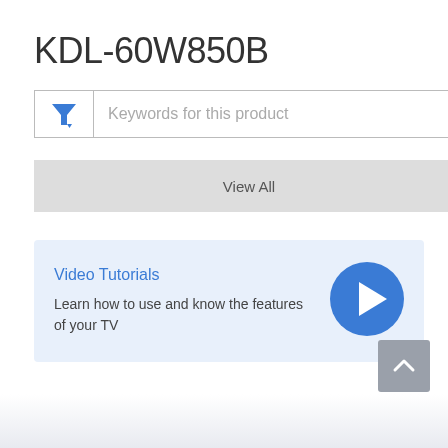KDL-60W850B
[Figure (screenshot): Search/filter input box with funnel filter icon and placeholder text 'Keywords for this product']
View All
Video Tutorials
Learn how to use and know the features of your TV
[Figure (other): Blue circular play button icon]